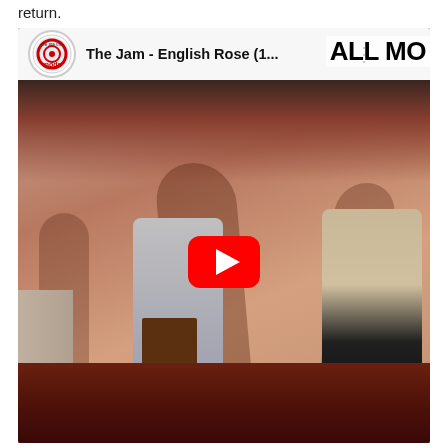return.
[Figure (screenshot): YouTube video embed showing 'The Jam - English Rose (1...' with a YouTube play button overlay. The thumbnail shows band members in a room with warm reddish-brown tones. The 'we are the mods' channel logo appears in the top left, and 'ALL MO' text is partially visible top right.]